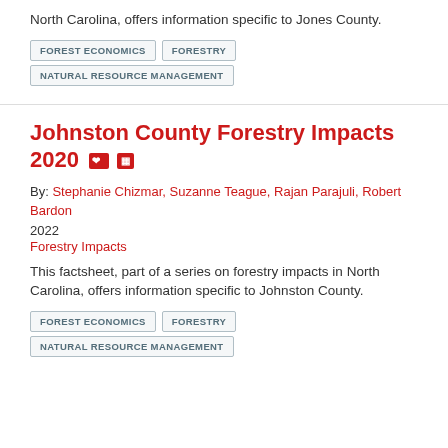North Carolina, offers information specific to Jones County.
FOREST ECONOMICS
FORESTRY
NATURAL RESOURCE MANAGEMENT
Johnston County Forestry Impacts 2020
By: Stephanie Chizmar, Suzanne Teague, Rajan Parajuli, Robert Bardon
2022
Forestry Impacts
This factsheet, part of a series on forestry impacts in North Carolina, offers information specific to Johnston County.
FOREST ECONOMICS
FORESTRY
NATURAL RESOURCE MANAGEMENT